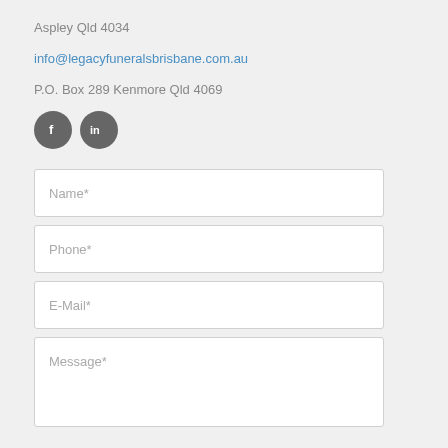Aspley Qld 4034
info@legacyfuneralsbrisbane.com.au
P.O. Box 289 Kenmore Qld 4069
[Figure (other): Two circular social media icons: Facebook (f) and LinkedIn (in), dark grey circles with white icons]
[Figure (other): Contact form with four fields: Name*, Phone*, E-Mail*, and Message* (textarea)]